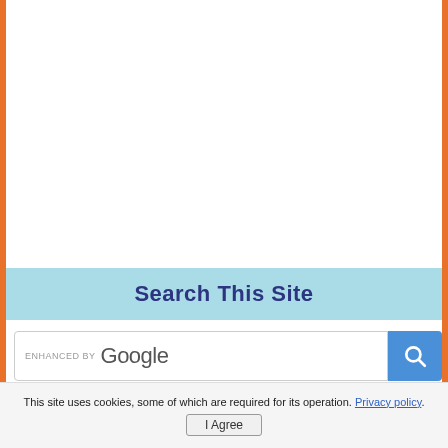[Figure (screenshot): White content area with orange left and right border bars forming a page frame]
Search This Site
[Figure (screenshot): Google enhanced search box with blue search button]
This site uses cookies, some of which are required for its operation. Privacy policy.
[Figure (other): I Agree button for cookie consent]